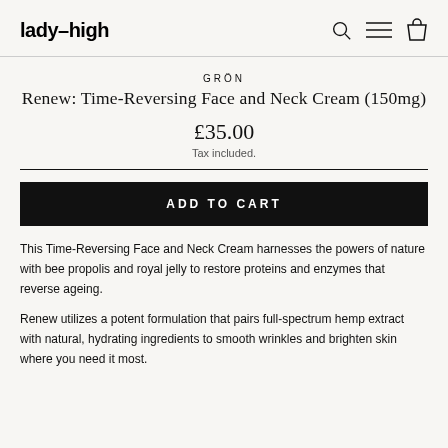lady-high
GRÖN
Renew: Time-Reversing Face and Neck Cream (150mg)
£35.00
Tax included.
ADD TO CART
This Time-Reversing Face and Neck Cream harnesses the powers of nature with bee propolis and royal jelly to restore proteins and enzymes that reverse ageing.
Renew utilizes a potent formulation that pairs full-spectrum hemp extract with natural, hydrating ingredients to smooth wrinkles and brighten skin where you need it most.